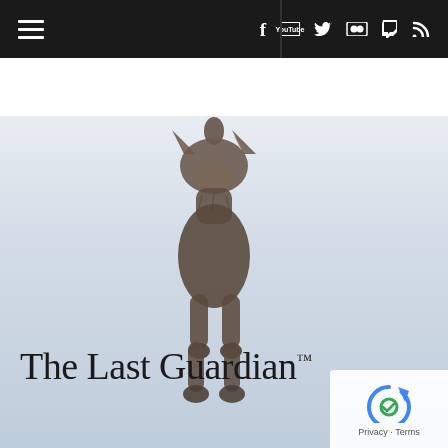Navigation bar with hamburger menu and social icons: Facebook, YouTube, Twitter, Flickr, Twitch, RSS
[Figure (illustration): The Last Guardian game artwork showing the creature Trico (a chimeric animal resembling a large cat-dog hybrid) standing upright against a pale blue-grey foggy background. The creature has sparse fur, pointed ears, and is facing slightly upward. Below the creature is the game logo text 'The Last Guardian' with a trademark symbol.]
The Last Guardian™
[Figure (logo): Google reCAPTCHA badge in bottom-right corner showing the reCAPTCHA logo (circular arrows) and text 'Privacy - Terms']